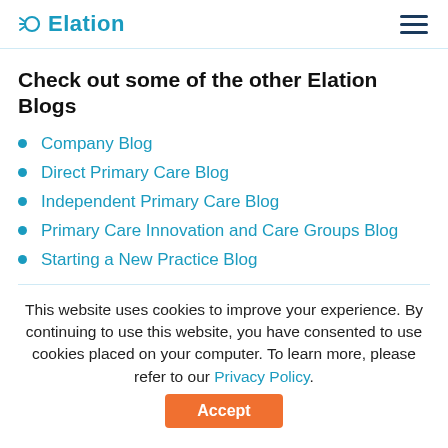Elation
Check out some of the other Elation Blogs
Company Blog
Direct Primary Care Blog
Independent Primary Care Blog
Primary Care Innovation and Care Groups Blog
Starting a New Practice Blog
This website uses cookies to improve your experience. By continuing to use this website, you have consented to use cookies placed on your computer. To learn more, please refer to our Privacy Policy.